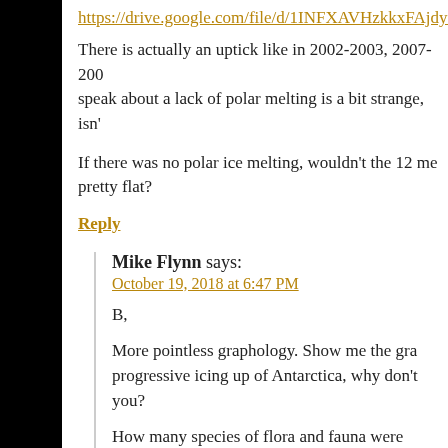https://drive.google.com/file/d/1INFXAVHzkkxFAjdyG
There is actually an uptick like in 2002-2003, 2007-200… speak about a lack of polar melting is a bit strange, isn't
If there was no polar ice melting, wouldn't the 12 mo… pretty flat?
Reply
Mike Flynn says:
October 19, 2018 at 6:47 PM
B,
More pointless graphology. Show me the gra… progressive icing up of Antarctica, why don't you?
How many species of flora and fauna were wiped… don't care, do you?
Have you a graph showing the coming and going of